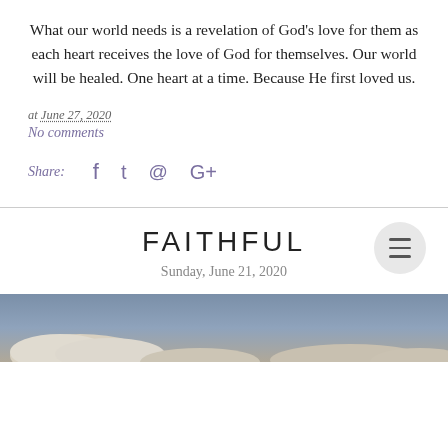What our world needs is a revelation of God's love for them as each heart receives the love of God for themselves. Our world will be healed. One heart at a time. Because He first loved us.
at June 27, 2020
No comments
Share:
FAITHFUL
Sunday, June 21, 2020
[Figure (photo): Photograph of a sky with clouds, blue-grey sky at the top and white clouds visible at the bottom edge.]